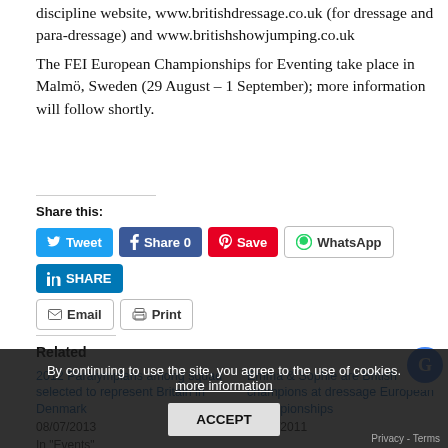discipline website, www.britishdressage.co.uk (for dressage and para-dressage) and www.britishshowjumping.co.uk The FEI European Championships for Eventing take place in Malmö, Sweden (29 August – 1 September); more information will follow shortly.
Share this:
Tweet | Share 0 | Save | WhatsApp | SHARE | Email | Print
Related
2012 Paralympians among squad selected to represent Britain in Denmark 08/07/2013 In "Events"
Emma & Sophie are British champions at dressage European Championships 26/08/2011
By continuing to use the site, you agree to the use of cookies. more information | ACCEPT | Privacy - Terms